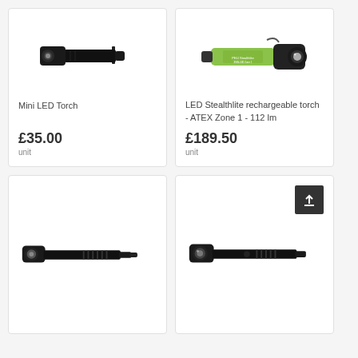[Figure (photo): Mini LED Torch product image - black compact torch]
Mini LED Torch
£35.00
unit
[Figure (photo): LED Stealthlite rechargeable torch - yellow/green body with black head]
LED Stealthlite rechargeable torch - ATEX Zone 1 - 112 lm
£189.50
unit
[Figure (photo): Black full-size torch (Maglite style)]
[Figure (photo): Black full-size torch with upload/back-to-top button overlay]